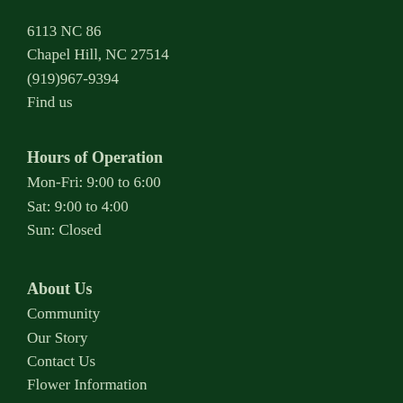6113 NC 86
Chapel Hill, NC 27514
(919)967-9394
Find us
Hours of Operation
Mon-Fri: 9:00 to 6:00
Sat: 9:00 to 4:00
Sun: Closed
About Us
Community
Our Story
Contact Us
Flower Information
Delivery Policy
Independent Florist
Areas Served
FAQ